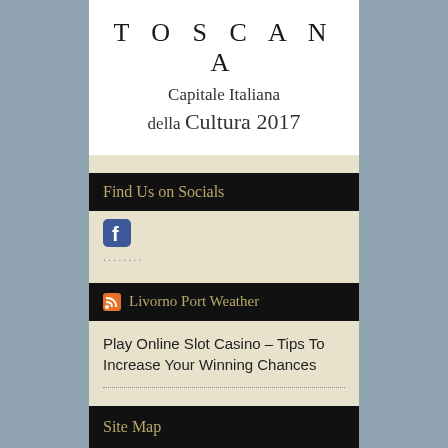[Figure (logo): Toscana Capitale Italiana della Cultura 2017 logo with large spaced text]
Find Us on Socials
[Figure (logo): Facebook icon (f logo in blue square)]
........
Livorno Port Weather
Play Online Slot Casino – Tips To Increase Your Winning Chances
Site Map